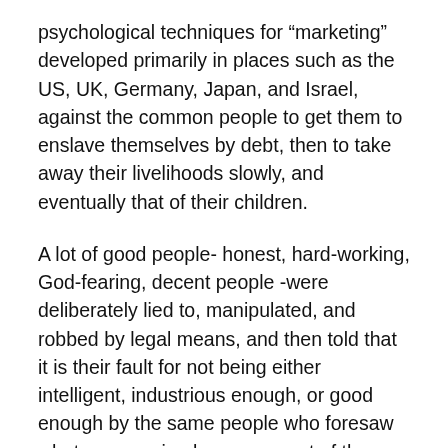psychological techniques for “marketing” developed primarily in places such as the US, UK, Germany, Japan, and Israel, against the common people to get them to enslave themselves by debt, then to take away their livelihoods slowly, and eventually that of their children.
A lot of good people- honest, hard-working, God-fearing, decent people -were deliberately lied to, manipulated, and robbed by legal means, and then told that it is their fault for not being either intelligent, industrious enough, or good enough by the same people who foresaw what was coming because most of them were robbers who had planned the event for their benefit.